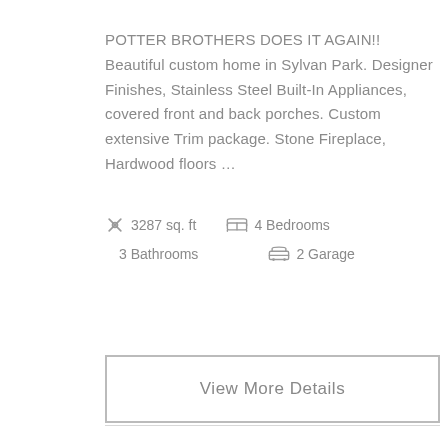POTTER BROTHERS DOES IT AGAIN!! Beautiful custom home in Sylvan Park. Designer Finishes, Stainless Steel Built-In Appliances, covered front and back porches. Custom extensive Trim package. Stone Fireplace, Hardwood floors ...
3287 sq. ft   4 Bedrooms   3 Bathrooms   2 Garage
View More Details